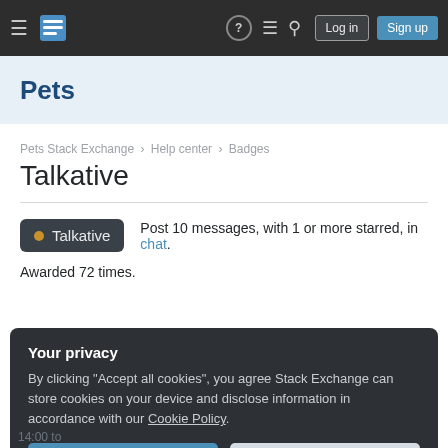≡  [Stack Exchange Logo]  ?  ≡  🔍  Log in  Sign up
Pets
Pets Stack Exchange › Help center › Badges
Talkative
Post 10 messages, with 1 or more starred, in chat.
Awarded 72 times.
Your privacy
By clicking "Accept all cookies", you agree Stack Exchange can store cookies on your device and disclose information in accordance with our Cookie Policy.
14:00 to